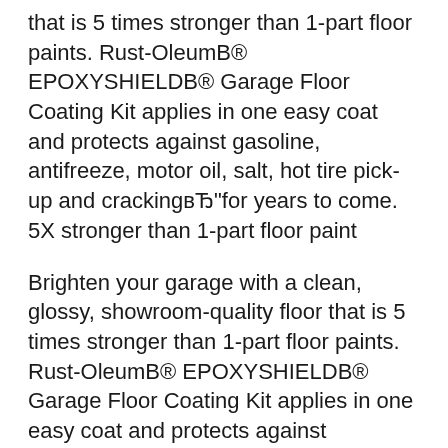that is 5 times stronger than 1-part floor paints. Rust-OleumB® EPOXYSHIELDB® Garage Floor Coating Kit applies in one easy coat and protects against gasoline, antifreeze, motor oil, salt, hot tire pick-up and crackingвЂ"for years to come. 5X stronger than 1-part floor paint
Brighten your garage with a clean, glossy, showroom-quality floor that is 5 times stronger than 1-part floor paints. Rust-OleumB® EPOXYSHIELDB® Garage Floor Coating Kit applies in one easy coat and protects against gasoline, antifreeze, motor oil, salt, hot tire pick-up and crackingвЂ"for years to come. 5X stronger than 1-part floor paint 18/10/2015В В· We review the